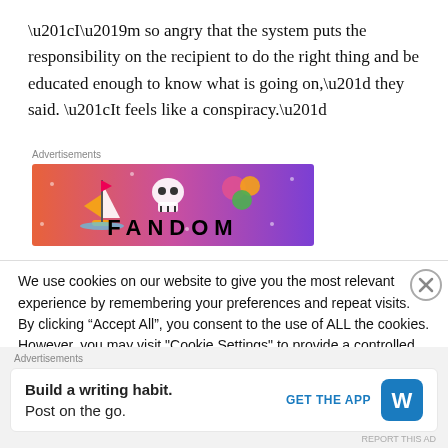“I’m so angry that the system puts the responsibility on the recipient to do the right thing and be educated enough to know what is going on,” they said. “It feels like a conspiracy.”
Advertisements
[Figure (illustration): Fandom advertisement banner with colorful gradient background (orange to purple), featuring a cartoon sailboat, skull, dice, and various icons, with the word FANDOM in large black letters]
We use cookies on our website to give you the most relevant experience by remembering your preferences and repeat visits. By clicking “Accept All”, you consent to the use of ALL the cookies. However, you may visit "Cookie Settings" to provide a controlled consent.
Advertisements
[Figure (illustration): WordPress app advertisement: 'Build a writing habit. Post on the go.' with GET THE APP button and WordPress logo]
REPORT THIS AD